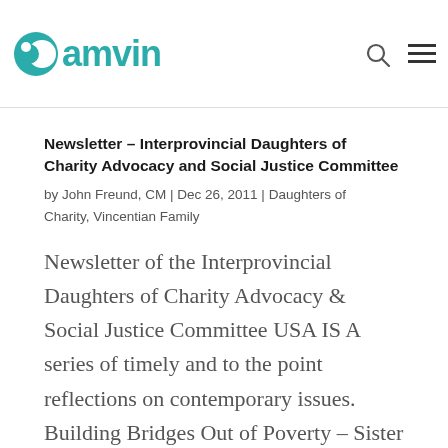Famvin
Newsletter – Interprovincial Daughters of Charity Advocacy and Social Justice Committee
by John Freund, CM | Dec 26, 2011 | Daughters of Charity, Vincentian Family
Newsletter of the Interprovincial Daughters of Charity Advocacy & Social Justice Committee USA IS A series of timely and to the point reflections on contemporary issues. Building Bridges Out of Poverty – Sister Julie Cutton, DC Environmental